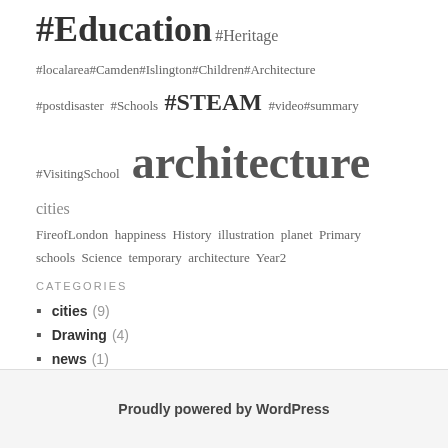#Education #Heritage #localarea#Camden#Islington#Children#Architecture #postdisaster #Schools #STEAM #video#summary #VisitingSchool architecture cities FireofLondon happiness History illustration planet Primary schools Science temporary architecture Year2
CATEGORIES
cities (9)
Drawing (4)
news (1)
Uncategorized (12)
Videos (3)
Proudly powered by WordPress